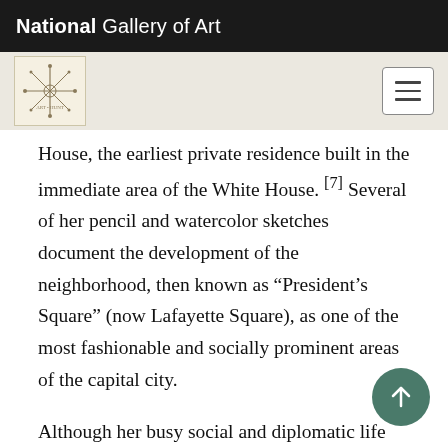National Gallery of Art
[Figure (logo): National Gallery of Art decorative logo/seal with snowflake-like design on cream background, and hamburger menu button on the right]
House, the earliest private residence built in the immediate area of the White House. [7] Several of her pencil and watercolor sketches document the development of the neighborhood, then known as “President’s Square” (now Lafayette Square), as one of the most fashionable and socially prominent areas of the capital city.
Although her busy social and diplomatic life led to a decline in the volume of sketches, Hyde de Neuville continued to document highlights of her American experience. These ranged from an unusual flower